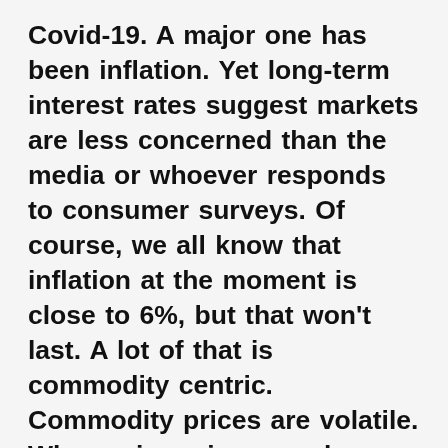Covid-19.  A major one has been inflation.  Yet long-term interest rates suggest markets are less concerned than the media or whoever responds to consumer surveys.  Of course, we all know that inflation at the moment is close to 6%, but that won't last.  A lot of that is commodity centric.  Commodity prices are volatile.  When prices rise, supply increases as demand decreases.  Balance gets restored.  Don't expect the prices for beef, gasoline, or homes to keep rising at their current pace for months or years to come.   The real question is whether wage and rent inflation will persist.  Can fading Covid